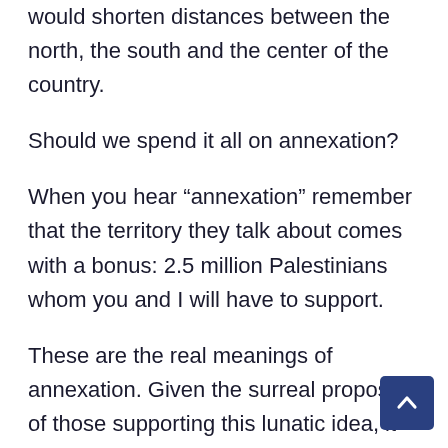would shorten distances between the north, the south and the center of the country.
Should we spend it all on annexation?
When you hear “annexation” remember that the territory they talk about comes with a bonus: 2.5 million Palestinians whom you and I will have to support.
These are the real meanings of annexation. Given the surreal proposal of those supporting this lunatic idea, it is our obligation to call their bluff.